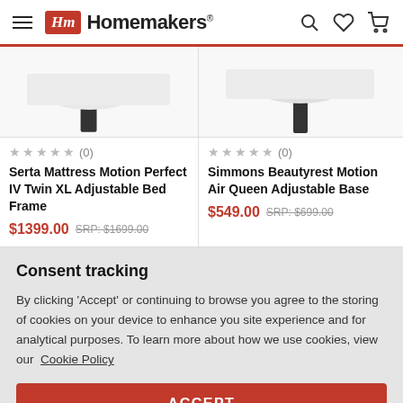Hm Homemakers
[Figure (photo): Product image - Serta adjustable bed frame (partial, bottom portion visible)]
[Figure (photo): Product image - Simmons adjustable base (partial, bottom portion visible)]
★★★★★ (0) Serta Mattress Motion Perfect IV Twin XL Adjustable Bed Frame $1399.00 SRP: $1699.00
★★★★★ (0) Simmons Beautyrest Motion Air Queen Adjustable Base $549.00 SRP: $699.00
Consent tracking
By clicking 'Accept' or continuing to browse you agree to the storing of cookies on your device to enhance you site experience and for analytical purposes. To learn more about how we use cookies, view our Cookie Policy
ACCEPT